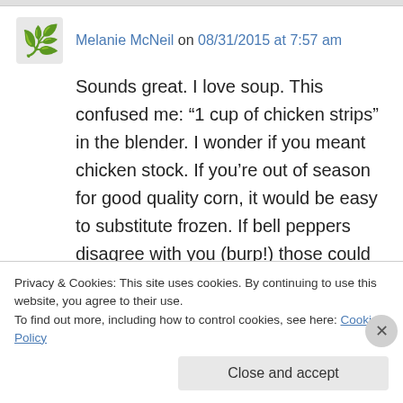Melanie McNeil on 08/31/2015 at 7:57 am
Sounds great. I love soup. This confused me: “1 cup of chicken strips” in the blender. I wonder if you meant chicken stock. If you’re out of season for good quality corn, it would be easy to substitute frozen. If bell peppers disagree with you (burp!) those could be left out. If it’s winter and you want to turn it into a stew, hominy would be a good add. This is one I’d vary each time I
Privacy & Cookies: This site uses cookies. By continuing to use this website, you agree to their use.
To find out more, including how to control cookies, see here: Cookie Policy
Close and accept